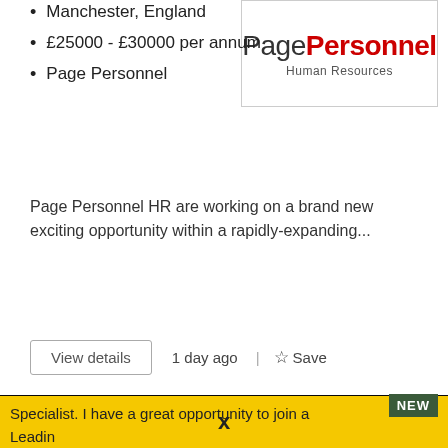Manchester, England
£25000 - £30000 per annum
Page Personnel
[Figure (logo): Page Personnel Human Resources logo in a bordered box]
Page Personnel HR are working on a brand new exciting opportunity within a rapidly-expanding...
View details
1 day ago
Save
This website uses cookies to improve your experience. By continuing to browse this site you are agreeing to our use of these cookies.
You can learn more about the cookies we use here.
x